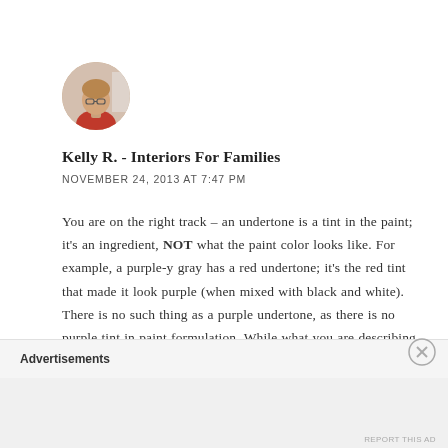[Figure (photo): Circular avatar photo of a woman with glasses and red top, against a light background]
Kelly R. - Interiors For Families
NOVEMBER 24, 2013 AT 7:47 PM
You are on the right track – an undertone is a tint in the paint; it's an ingredient, NOT what the paint color looks like. For example, a purple-y gray has a red undertone; it's the red tint that made it look purple (when mixed with black and white). There is no such thing as a purple undertone, as there is no purple tint in paint formulation. While what you are describing sounds like an appropriate setting for Manchester Tan, that doesn't necessarily mean you have to love the color. You do
Advertisements